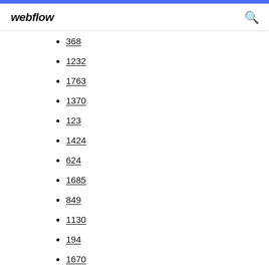webflow
368
1232
1763
1370
123
1424
624
1685
849
1130
194
1670